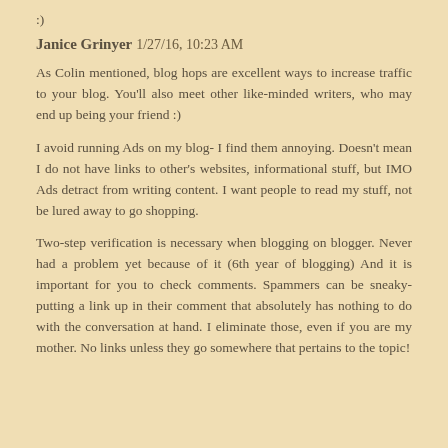Janice Grinyer  1/27/16, 10:23 AM
As Colin mentioned, blog hops are excellent ways to increase traffic to your blog. You'll also meet other like-minded writers, who may end up being your friend :)
I avoid running Ads on my blog- I find them annoying. Doesn't mean I do not have links to other's websites, informational stuff, but IMO Ads detract from writing content. I want people to read my stuff, not be lured away to go shopping.
Two-step verification is necessary when blogging on blogger. Never had a problem yet because of it (6th year of blogging) And it is important for you to check comments. Spammers can be sneaky- putting a link up in their comment that absolutely has nothing to do with the conversation at hand. I eliminate those, even if you are my mother. No links unless they go somewhere that pertains to the topic!